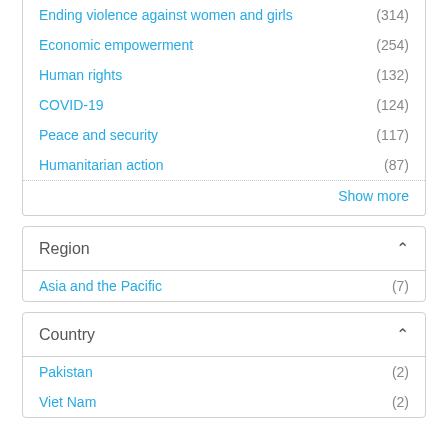Ending violence against women and girls (314)
Economic empowerment (254)
Human rights (132)
COVID-19 (124)
Peace and security (117)
Humanitarian action (87)
Show more
Region
Asia and the Pacific (7)
Country
Pakistan (2)
Viet Nam (2)